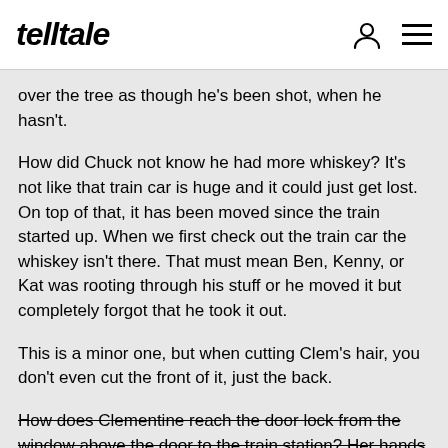telltale
over the tree as though he's been shot, when he hasn't.
How did Chuck not know he had more whiskey? It's not like that train car is huge and it could just get lost. On top of that, it has been moved since the train started up. When we first check out the train car the whiskey isn't there. That must mean Ben, Kenny, or Kat was rooting through his stuff or he moved it but completely forgot that he took it out.
This is a minor one, but when cutting Clem's hair, you don't even cut the front of it, just the back.
How does Clementine reach the door lock from the window above the door to the train station? Her hands can barely reach in there and the door knob is